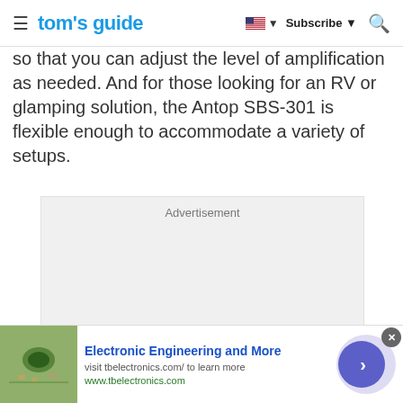tom's guide  Subscribe
so that you can adjust the level of amplification as needed. And for those looking for an RV or glamping solution, the Antop SBS-301 is flexible enough to accommodate a variety of setups.
[Figure (other): Advertisement placeholder box with light gray background]
[Figure (other): Bottom banner advertisement for Electronic Engineering and More - tbelectronics.com, with thumbnail image of electronics, blue title text, and navigation arrow button]